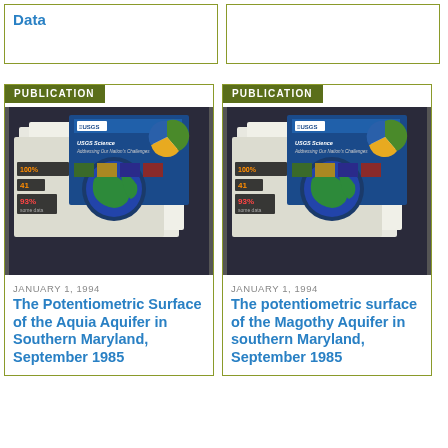Data
PUBLICATION
[Figure (photo): USGS Science publication covers spread out on a surface, showing a globe, pie chart, and various text.]
JANUARY 1, 1994
The Potentiometric Surface of the Aquia Aquifer in Southern Maryland, September 1985
PUBLICATION
[Figure (photo): USGS Science publication covers spread out on a surface, showing a globe, pie chart, and various text.]
JANUARY 1, 1994
The potentiometric surface of the Magothy Aquifer in southern Maryland, September 1985